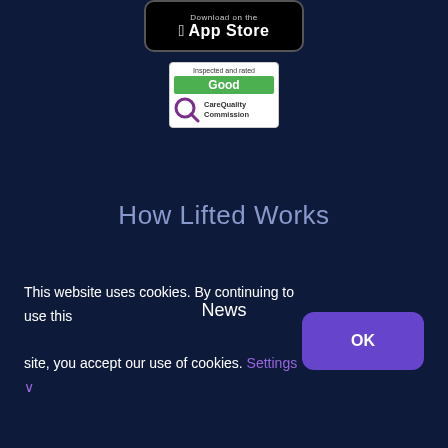[Figure (logo): Download on the App Store badge with Apple logo]
[Figure (logo): CQC Inspected and rated Good - Care Quality Commission badge]
How Lifted Works
News
This website uses cookies. By continuing to use this site, you accept our use of cookies. Settings ✓
OK